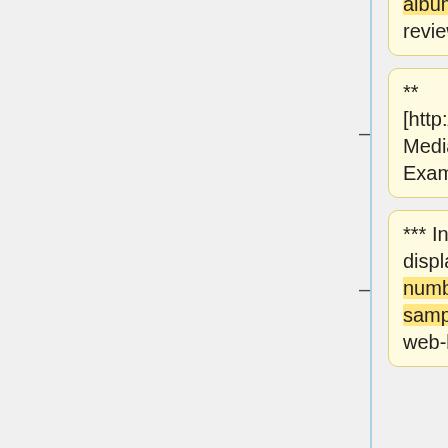artist (link), genre (link), label, cover image, release date, price, web-based purchase (link), license, related albums, also bought, reviews, tracks
** [http://www.digirama.co.nz/AlbumDetails.aspx?MediaID=578456 Song Example]
*** Information displayed: track number, title, length, sample (link), price, web-based